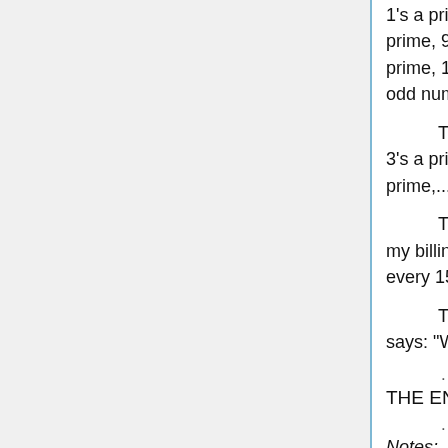1's a prime, 3's a prime, 5's a prime, 7's a prime, 9's a prime, 11's a prime, 13's a prime, 15's a prime, and so is every other odd number."
The sociologist says: "1's a prime, 3's a prime, 5's a prime, 7's a prime, 9's a prime,..."
The law professor says,"First of all, my billing rate is $400/hour, and it runs for every 15-minute increment..."
The grievance studies professor says: "What's a prime number?"
THE END
Notes:
1. A prime number is a number greater than 1 that is evenly divisible only by itself and 1.